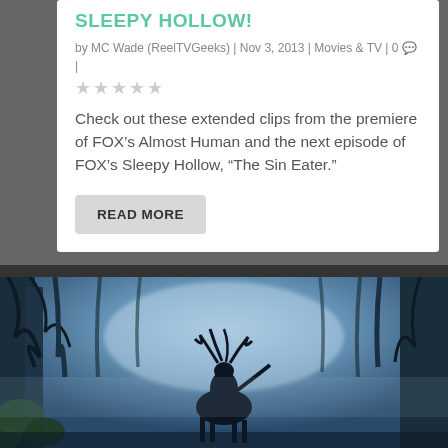SLEEPY HOLLOW!
by MC Wade (ReelTVGeeks) | Nov 3, 2013 | Movies & TV | 0 💬 |
★★★★★
Check out these extended clips from the premiere of FOX's Almost Human and the next episode of FOX's Sleepy Hollow, "The Sin Eater."
READ MORE
[Figure (photo): Dark blue-tinted forest scene with silhouette of a horseman with antlers/horns against misty tree backdrop]